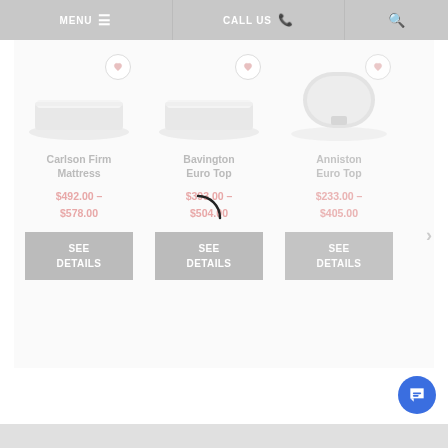MENU | CALL US | Search
[Figure (screenshot): Product card: Carlson Firm Mattress with wishlist heart icon, mattress image, price $492.00 – $578.00, SEE DETAILS button]
[Figure (screenshot): Product card: Bavington Euro Top with wishlist heart icon, mattress image, price $393.00 – $504.00, SEE DETAILS button, loading spinner overlay]
[Figure (screenshot): Product card: Anniston Euro Top with wishlist heart icon, mattress image, price $233.00 – $405.00, SEE DETAILS button]
Next >
[Figure (illustration): Blue circular chat support button at bottom right]